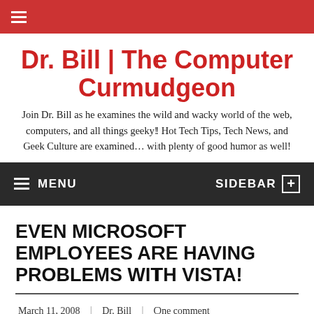≡
Dr. Bill | The Computer Curmudgeon
Join Dr. Bill as he examines the wild and wacky world of the web, computers, and all things geeky! Hot Tech Tips, Tech News, and Geek Culture are examined… with plenty of good humor as well!
≡ MENU   SIDEBAR +
EVEN MICROSOFT EMPLOYEES ARE HAVING PROBLEMS WITH VISTA!
March 11, 2008 | Dr. Bill | One comment